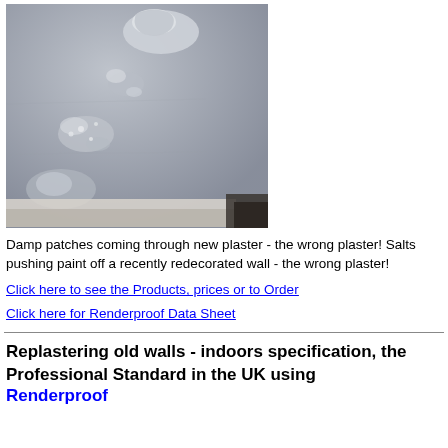[Figure (photo): Close-up photo of a wall showing damp patches and salts pushing paint off plaster, with peeling and bubbling surface texture visible.]
Damp patches coming through new plaster - the wrong plaster! Salts pushing paint off a recently redecorated wall - the wrong plaster!
Click here to see the Products, prices or to Order
Click here for Renderproof Data Sheet
Replastering old walls - indoors specification, the Professional Standard in the UK using Renderproof